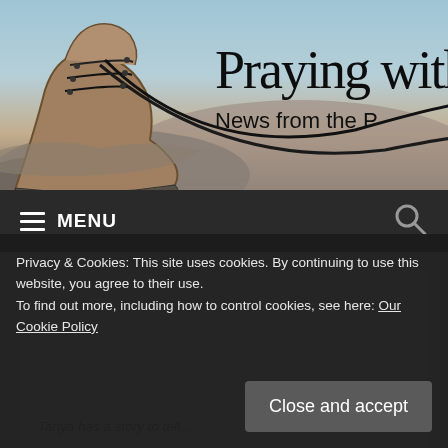[Figure (photo): Website header banner showing a worn hiking boot on rocky terrain with blue sky, and handwritten-style text 'Praying with O' and subtitle 'News from the P' overlaid on the right side]
≡ MENU  🔍
[Figure (screenshot): Partially visible article card showing text 'A Different Word of Mushroom' and 'Tanya has a story to tell...' on a white card on beige background]
Privacy & Cookies: This site uses cookies. By continuing to use this website, you agree to their use.
To find out more, including how to control cookies, see here: Our Cookie Policy
Close and accept